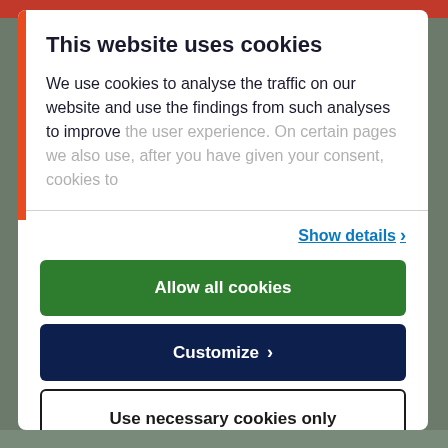This website uses cookies
We use cookies to analyse the traffic on our website and use the findings from such analyses to improve the user experience. On certain pages we also use, after you have given your consent, cookies to
Show details >
Allow all cookies
Customize >
Use necessary cookies only